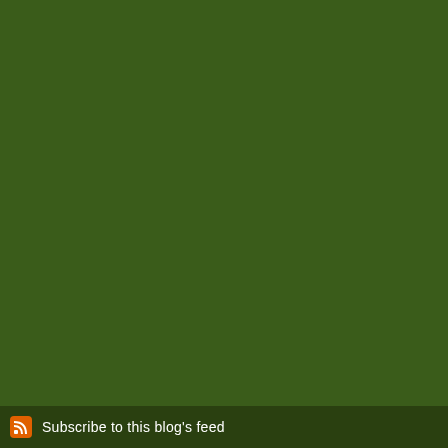1 Comment
Basically, the re be with the Lor Law requireme
The comments to t
Pl
Church...the chall
more and more I im scandalous redemp
Subscribe to this blog's feed